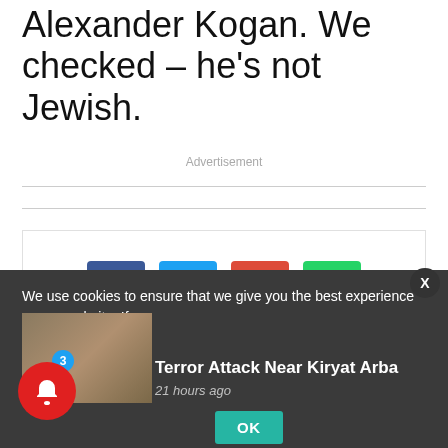Alexander Kogan. We checked – he's not Jewish.
Advertisement
[Figure (screenshot): Social media share buttons: Facebook, Twitter, Google+, WhatsApp icons and a Tweet button]
We use cookies to ensure that we give you the best experience on our website. If yo
Terror Attack Near Kiryat Arba
21 hours ago